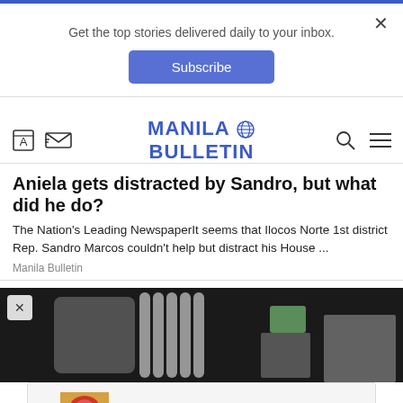Get the top stories delivered daily to your inbox.
Subscribe
[Figure (screenshot): Manila Bulletin website navigation bar with logo, search icon, and hamburger menu]
Aniela gets distracted by Sandro, but what did he do?
The Nation's Leading NewspaperIt seems that Ilocos Norte 1st district Rep. Sandro Marcos couldn't help but distract his House ...
Manila Bulletin
[Figure (photo): Partial photo of chairs and a plant in an interior setting]
Ad  Hot Air Ballooning Experiences